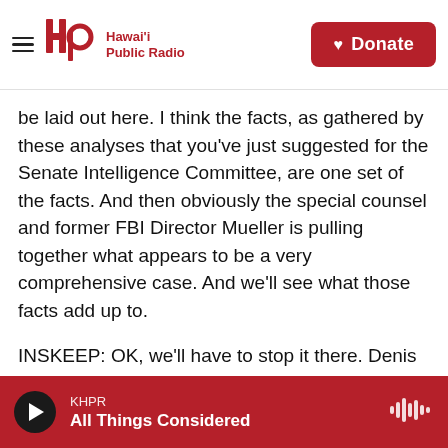Hawai'i Public Radio | Donate
be laid out here. I think the facts, as gathered by these analyses that you've just suggested for the Senate Intelligence Committee, are one set of the facts. And then obviously the special counsel and former FBI Director Mueller is pulling together what appears to be a very comprehensive case. And we'll see what those facts add up to.
INSKEEP: OK, we'll have to stop it there. Denis McDonough, thanks for coming by - really appreciate it.
MCDONOUGH: Thanks so much, Steve.
KHPR | All Things Considered